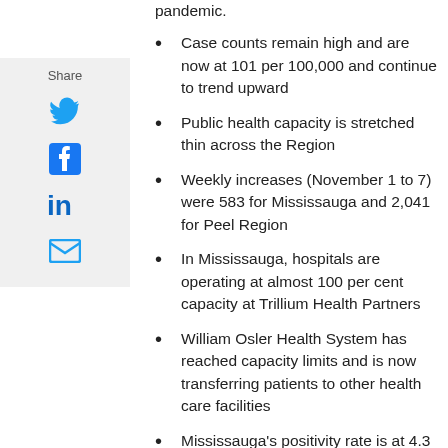pandemic.
Case counts remain high and are now at 101 per 100,000 and continue to trend upward
Public health capacity is stretched thin across the Region
Weekly increases (November 1 to 7) were 583 for Mississauga and 2,041 for Peel Region
In Mississauga, hospitals are operating at almost 100 per cent capacity at Trillium Health Partners
William Osler Health System has reached capacity limits and is now transferring patients to other health care facilities
Mississauga's positivity rate is at 4.3 per cent; positivity rates across the Region are all above the federal limit of 3 per cent and the highest across all of Ontario